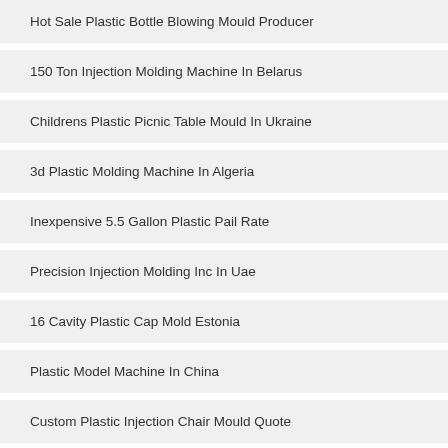Hot Sale Plastic Bottle Blowing Mould Producer
150 Ton Injection Molding Machine In Belarus
Childrens Plastic Picnic Table Mould In Ukraine
3d Plastic Molding Machine In Algeria
Inexpensive 5.5 Gallon Plastic Pail Rate
Precision Injection Molding Inc In Uae
16 Cavity Plastic Cap Mold Estonia
Plastic Model Machine In China
Custom Plastic Injection Chair Mould Quote
Recycled Plastic Coffee Table Mould In Bangladesh